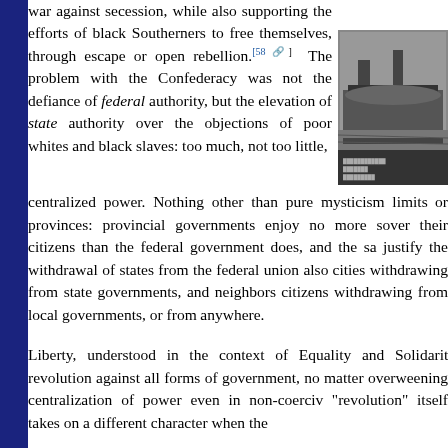war against secession, while also supporting the efforts of black Southerners to free themselves, through escape or open rebellion.[58] The problem with the Confederacy was not the defiance of federal authority, but the elevation of state authority over the objections of poor whites and black slaves: too much, not too little, centralized power. Nothing other than pure mysticism limits the logic of secession to states or provinces: provincial governments enjoy no more sovereignty over their citizens than the federal government does, and the same logic used to justify the withdrawal of states from the federal union also justifies cities withdrawing from state governments, and neighborhoods or individual citizens withdrawing from local governments, or from any government anywhere.
[Figure (photo): Black and white historical photograph showing what appears to be a ship or naval vessel scene.]
Liberty, understood in the context of Equality and Solidarity, is not a revolution against all forms of government, no matter what; it opposes the overweening centralization of power even in non-coercive forms. But the "revolution" itself takes on a different character when the...